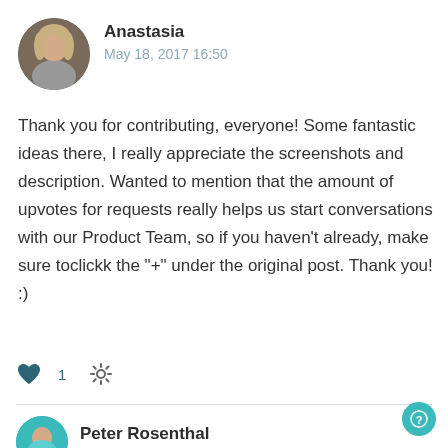[Figure (photo): Circular avatar photo of Anastasia, a woman with blonde hair]
Anastasia
May 18, 2017 16:50
Thank you for contributing, everyone! Some fantastic ideas there, I really appreciate the screenshots and description. Wanted to mention that the amount of upvotes for requests really helps us start conversations with our Product Team, so if you haven't already, make sure toclickk the "+" under the original post. Thank you! :)
[Figure (illustration): Heart icon with count 1 and gear/settings icon]
[Figure (photo): Circular avatar of Peter Rosenthal, teal/blue colored]
Peter Rosenthal